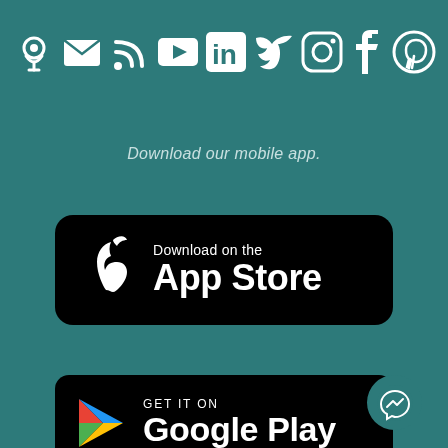[Figure (illustration): Row of white social media icons on teal background: podcast, email/envelope, RSS feed, YouTube play button, LinkedIn, Twitter, Instagram, Facebook, Pinterest]
Download our mobile app.
[Figure (logo): Apple App Store download badge — black rounded rectangle with Apple logo and text 'Download on the App Store']
[Figure (logo): Google Play Store download badge — black rounded rectangle with Google Play logo and text 'GET IT ON Google Play', with a teal Messenger bubble icon in bottom right corner]